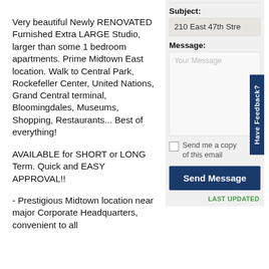Very beautiful Newly RENOVATED Furnished Extra LARGE Studio, larger than some 1 bedroom apartments. Prime Midtown East location. Walk to Central Park, Rockefeller Center, United Nations, Grand Central terminal, Bloomingdales, Museums, Shopping, Restaurants... Best of everything!
AVAILABLE for SHORT or LONG Term. Quick and EASY APPROVAL!!
- Prestigious Midtown location near major Corporate Headquarters, convenient to all
Subject:
210 East 47th Stre
Message:
Your Message
Send me a copy of this email
Send Message
Have Feedback?
LAST UPDATED